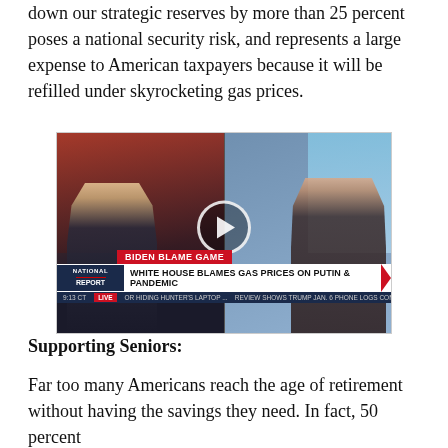down our strategic reserves by more than 25 percent poses a national security risk, and represents a large expense to American taxpayers because it will be refilled under skyrocketing gas prices.
[Figure (screenshot): Fox News / National Report TV screenshot showing two men (news anchor on left, guest on right) with chyron reading 'BIDEN BLAME GAME' and lower third 'WHITE HOUSE BLAMES GAS PRICES ON PUTIN & PANDEMIC'. A video play button is visible in the center. Ticker at bottom reads: 'OR HIDING HUNTER'S LAPTOP ... REVIEW SHOWS TRUMP JAN. 6 PHONE LOGS COMP'. Timestamp 9:13 CT. LIVE.]
Supporting Seniors:
Far too many Americans reach the age of retirement without having the savings they need. In fact, 50 percent